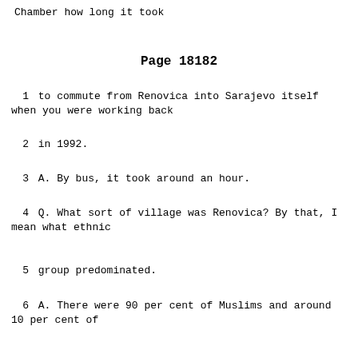Chamber how long it took
Page 18182
1      to commute from Renovica into Sarajevo itself when you were working back
2      in 1992.
3      A.   By bus, it took around an hour.
4      Q.   What sort of village was Renovica?  By that, I mean what ethnic
5      group predominated.
6      A.   There were 90 per cent of Muslims and around 10 per cent of